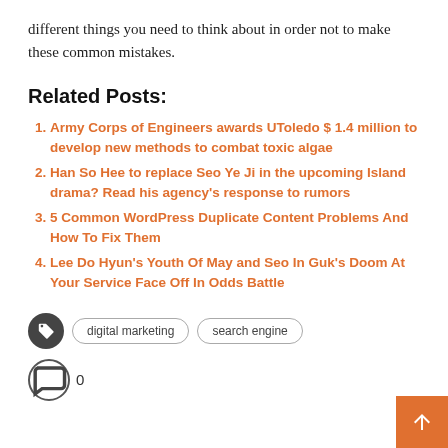different things you need to think about in order not to make these common mistakes.
Related Posts:
Army Corps of Engineers awards UToledo $ 1.4 million to develop new methods to combat toxic algae
Han So Hee to replace Seo Ye Ji in the upcoming Island drama? Read his agency's response to rumors
5 Common WordPress Duplicate Content Problems And How To Fix Them
Lee Do Hyun's Youth Of May and Seo In Guk's Doom At Your Service Face Off In Odds Battle
digital marketing   search engine
0